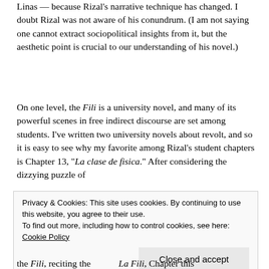Linas — because Rizal's narrative technique has changed. I doubt Rizal was not aware of his conundrum. (I am not saying one cannot extract sociopolitical insights from it, but the aesthetic point is crucial to our understanding of his novel.)
On one level, the Fili is a university novel, and many of its powerful scenes in free indirect discourse are set among students. I've written two university novels about revolt, and so it is easy to see why my favorite among Rizal's student chapters is Chapter 13, "La clase de fisica." After considering the dizzying puzzle of
Privacy & Cookies: This site uses cookies. By continuing to use this website, you agree to their use.
To find out more, including how to control cookies, see here:
Cookie Policy

Close and accept
the Fili, reciting the ... La Fili, Chapter this...